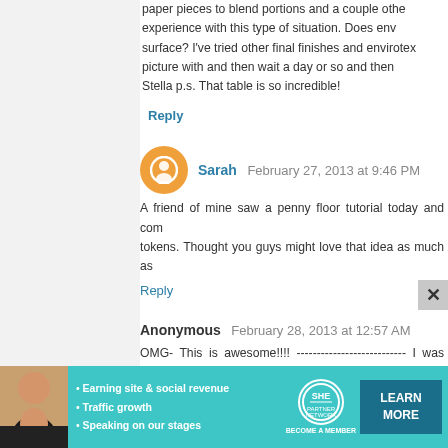paper pieces to blend portions and a couple other experience with this type of situation. Does env surface? I've tried other final finishes and envirotex picture with and then wait a day or so and then Stella p.s. That table is so incredible!
Reply
Sarah  February 27, 2013 at 9:46 PM
A friend of mine saw a penny floor tutorial today and com tokens. Thought you guys might love that idea as much as
Reply
Anonymous  February 28, 2013 at 12:57 AM
OMG- This is awesome!!!! -------------------------- I was just envirotex. I came upon this site and will now be coming ba page. Since, I am here and haven't found my answer else image transfer mixed media images. I have layers and la Medium. Towards the end, I started using Liquid Fusio everything dry. I then attach my canvas board to "W "collage." It's approximately 18" x 24" and after heavy
[Figure (infographic): SHE Partner Network advertisement banner with teal background, woman photo, bullet points about earning site & social revenue, traffic growth, speaking on our stages, SHE logo circle, and LEARN MORE button]